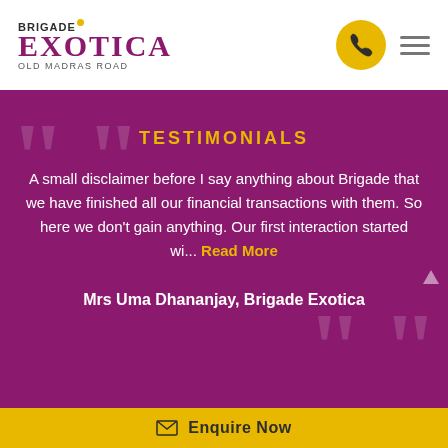[Figure (logo): Brigade Exotica logo - Old Madras Road with phone button and hamburger menu]
TESTIMONIALS
A small disclaimer before I say anything about Brigade that we have finished all our financial transactions with them. So here we don't gain anything. Our first interaction started wi... Read More
Mrs Uma Dhananjay, Brigade Exotica
Enquire Now